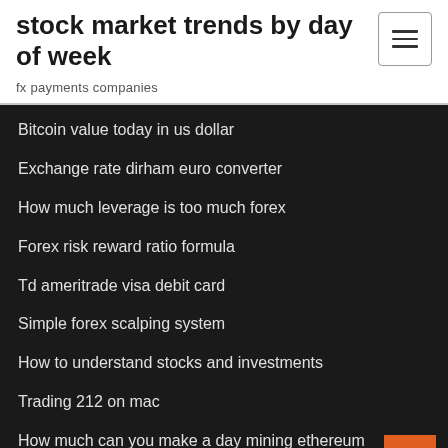stock market trends by day of week
fx payments companies
Bitcoin value today in us dollar
Exchange rate dirham euro converter
How much leverage is too much forex
Forex risk reward ratio formula
Td ameritrade visa debit card
Simple forex scalping system
How to understand stocks and investments
Trading 212 on mac
How much can you make a day mining ethereum
Bittrex cryptocurrency exchange